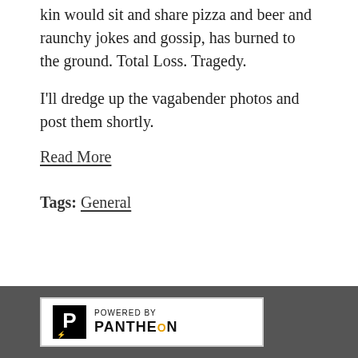kin would sit and share pizza and beer and raunchy jokes and gossip, has burned to the ground. Total Loss. Tragedy.
I'll dredge up the vagabender photos and post them shortly.
Read More
Tags: General
1  2  3  4  5  6  7  next ›  last »
Powered by Pantheon